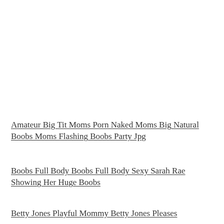Amateur Big Tit Moms Porn Naked Moms Big Natural Boobs Moms Flashing Boobs Party Jpg
Boobs Full Body Boobs Full Body Sexy Sarah Rae Showing Her Huge Boobs
Betty Jones Playful Mommy Betty Jones Pleases